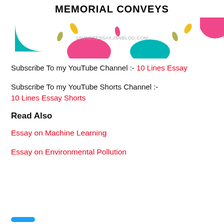MEMORIAL CONVEYS
[Figure (illustration): Decorative banner with colorful abstract shapes (teal, pink, yellow, olive) and website URL 10LINESESSAY.JSNBLOG.COM in center]
Subscribe To my YouTube Channel :- 10 Lines Essay
Subscribe To my YouTube Shorts Channel :- 10 Lines Essay Shorts
Read Also
Essay on Machine Learning
Essay on Environmental Pollution